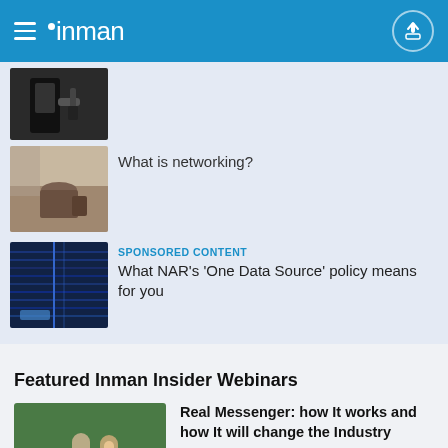inman
[Figure (photo): Thumbnail image of gas pump nozzle (partially visible, top of list)]
[Figure (photo): Thumbnail image of person sitting at cafe]
What is networking?
[Figure (photo): Thumbnail image of data/code display]
SPONSORED CONTENT
What NAR’s ‘One Data Source’ policy means for you
Featured Inman Insider Webinars
[Figure (photo): Thumbnail of man in suit holding phone showing Real Messenger app]
Real Messenger: how It works and how It will change the Industry
Register